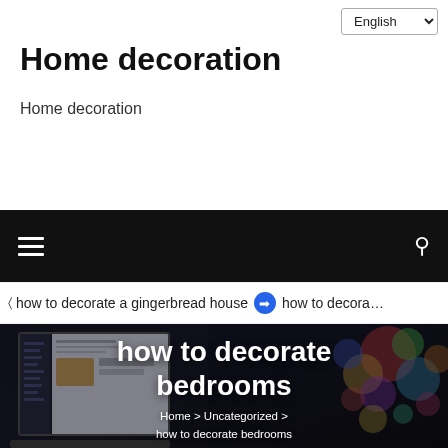Home decoration
Home decoration
[Figure (screenshot): Black navigation bar with hamburger menu icon on left and search icon on right]
how to decorate a gingerbread house   ⊙ how to decorate
[Figure (photo): Hero image with laptop showing a website on screen, colorful bokeh lights on the right, overlaid with large white bold text 'how to decorate bedrooms' and breadcrumb 'Home > Uncategorized > how to decorate bedrooms']
how to decorate bedrooms
Home > Uncategorized > how to decorate bedrooms